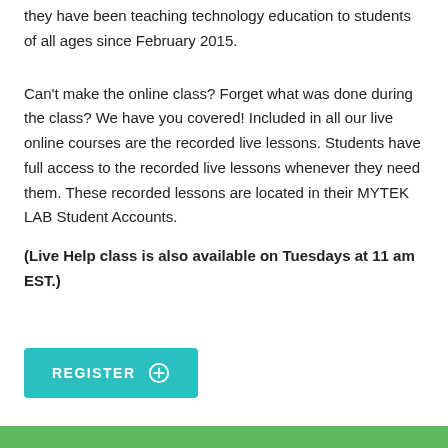they have been teaching technology education to students of all ages since February 2015.
Can't make the online class? Forget what was done during the class? We have you covered! Included in all our live online courses are the recorded live lessons. Students have full access to the recorded live lessons whenever they need them. These recorded lessons are located in their MYTEK LAB Student Accounts.
(Live Help class is also available on Tuesdays at 11 am EST.)
[Figure (other): Teal REGISTER button with a circled plus icon]